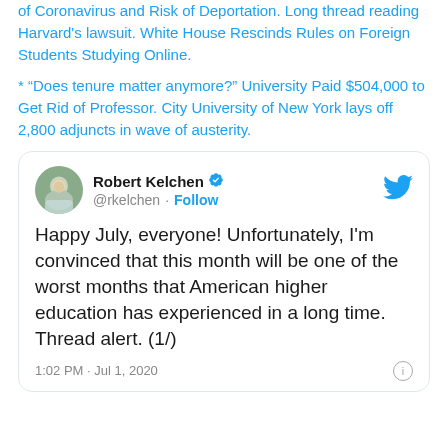of Coronavirus and Risk of Deportation. Long thread reading Harvard's lawsuit. White House Rescinds Rules on Foreign Students Studying Online.
* “Does tenure matter anymore?” University Paid $504,000 to Get Rid of Professor. City University of New York lays off 2,800 adjuncts in wave of austerity.
[Figure (screenshot): Embedded tweet from Robert Kelchen (@rkelchen) with verified badge and Follow link. Tweet text: 'Happy July, everyone! Unfortunately, I'm convinced that this month will be one of the worst months that American higher education has experienced in a long time. Thread alert. (1/)'. Timestamp: 1:02 PM · Jul 1, 2020.]